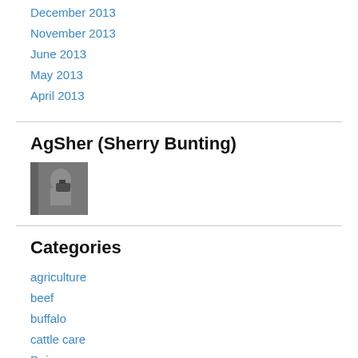December 2013
November 2013
June 2013
May 2013
April 2013
AgSher (Sherry Bunting)
[Figure (photo): Small photo of a person holding a camera, taken through a car window]
Categories
agriculture
beef
buffalo
cattle care
Dairy
dairy checkoff